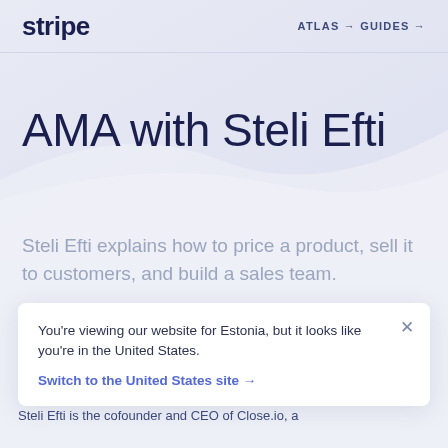stripe  ATLAS → GUIDES →
AMA with Steli Efti
Steli Efti explains how to price a product, sell it to customers, and build a sales team.
You're viewing our website for Estonia, but it looks like you're in the United States.
Switch to the United States site →
Steli Efti is the cofounder and CEO of Close.io, a